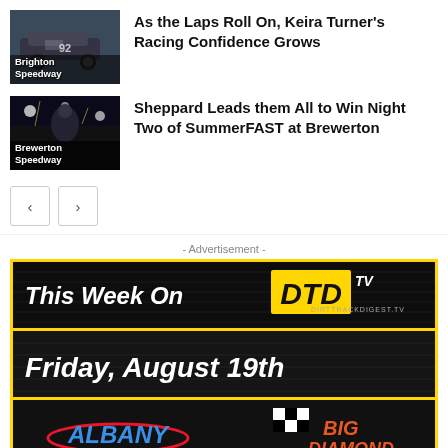[Figure (photo): Racing car photo with 'Brighton Speedway' label overlay]
As the Laps Roll On, Keira Turner's Racing Confidence Grows
[Figure (photo): Night racing photo with 'Brewerton Speedway' label overlay]
Sheppard Leads them All to Win Night Two of SummerFAST at Brewerton
< >
- Advertisement -
[Figure (infographic): DTD TV advertisement banner: 'This Week On DIRTTRACKDIGEST.TV', 'Friday, August 19th', Albany and Big Diamond logos]